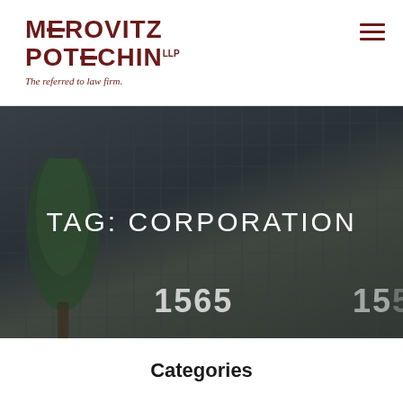[Figure (logo): Merovitz Potechin LLP law firm logo with stylized E letters in dark red/maroon, with tagline 'The referred to law firm.']
[Figure (photo): Hero image of a glass office building with trees in the foreground, overlaid with dark semi-transparent filter. Shows building number 1565.]
TAG: CORPORATION
Categories